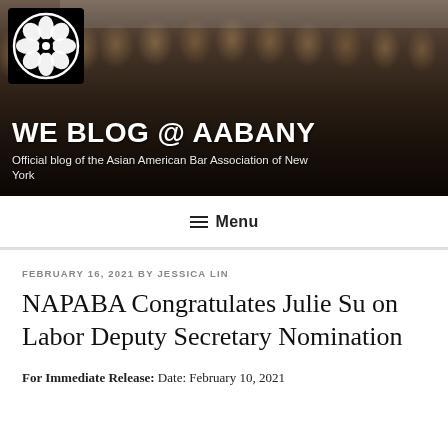[Figure (photo): Group photo of AABANY members in formal attire at a gala event, with the AABANY flower logo overlaid in the top-left corner. Blog title 'WE BLOG @ AABANY' and subtitle 'Official blog of the Asian American Bar Association of New York' appear over the photo.]
WE BLOG @ AABANY
Official blog of the Asian American Bar Association of New York
≡  Menu
FEBRUARY 16, 2021 BY JESSICA LIN
NAPABA Congratulates Julie Su on Labor Deputy Secretary Nomination
For Immediate Release: Date: February 10, 2021